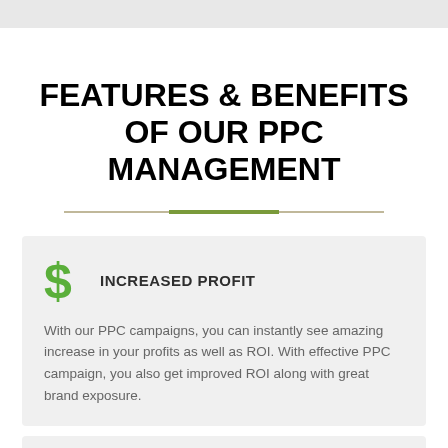FEATURES & BENEFITS OF OUR PPC MANAGEMENT
INCREASED PROFIT
With our PPC campaigns, you can instantly see amazing increase in your profits as well as ROI. With effective PPC campaign, you also get improved ROI along with great brand exposure.